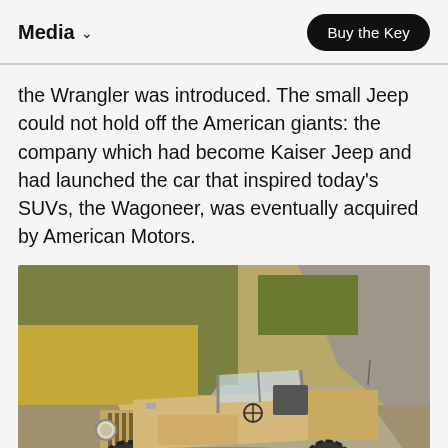Media  Buy the Key
the Wrangler was introduced. The small Jeep could not hold off the American giants: the company which had become Kaiser Jeep and had launched the car that inspired today's SUVs, the Wagoneer, was eventually acquired by American Motors.
[Figure (photo): Vintage tan/beige Jeep with orange wheels parked on a dirt road surrounded by golden grassland and trees in the background, sunny day.]